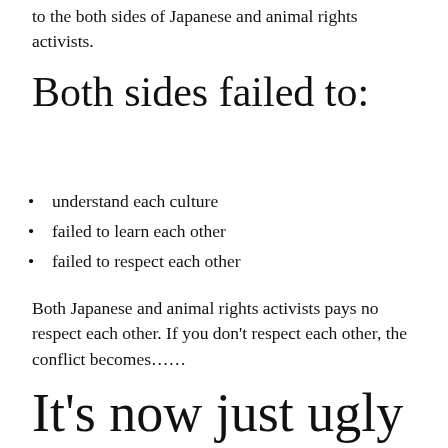to the both sides of Japanese and animal rights activists.
Both sides failed to:
understand each culture
failed to learn each other
failed to respect each other
Both Japanese and animal rights activists pays no respect each other. If you don't respect each other, the conflict becomes……
It's now just ugly childish fight